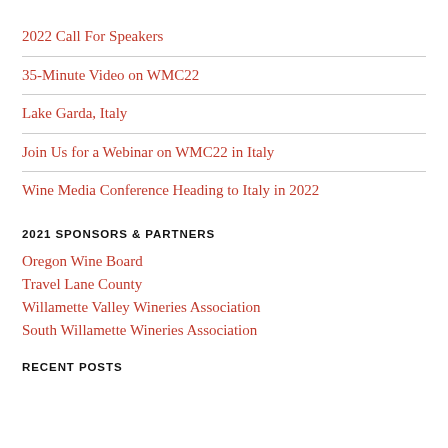2022 Call For Speakers
35-Minute Video on WMC22
Lake Garda, Italy
Join Us for a Webinar on WMC22 in Italy
Wine Media Conference Heading to Italy in 2022
2021 SPONSORS & PARTNERS
Oregon Wine Board
Travel Lane County
Willamette Valley Wineries Association
South Willamette Wineries Association
RECENT POSTS